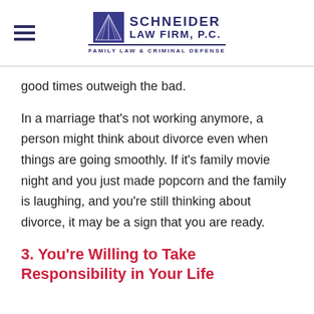Schneider Law Firm, P.C. — Family Law & Criminal Defense
good times outweigh the bad.
In a marriage that's not working anymore, a person might think about divorce even when things are going smoothly. If it's family movie night and you just made popcorn and the family is laughing, and you're still thinking about divorce, it may be a sign that you are ready.
3. You're Willing to Take Responsibility in Your Life